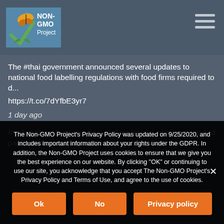[Figure (logo): Non-GMO Project logo with butterfly and checkmark]
The #thai government announced several updates to national food labelling regulations with food firms required to d... https://t.co/7dYfbE3yr7
1 day ago
It's that time of year again — falling leaves, shorter days and packed lunches for your school-age kids. From plant...
The Non-GMO Project's Privacy Policy was updated on 9/25/2020, and includes important information about your rights under the GDPR. In addition, the Non-GMO Project uses cookies to ensure that we give you the best experience on our website. By clicking "OK" or continuing to use our site, you acknowledge that you accept The Non-GMO Project's Privacy Policy and Terms of Use, and agree to the use of cookies.